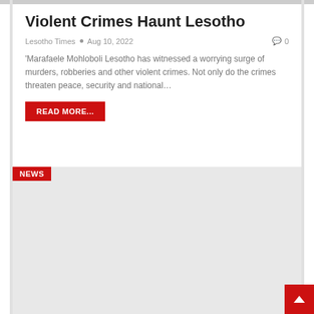Violent Crimes Haunt Lesotho
Lesotho Times  •  Aug 10, 2022   0
'Marafaele Mohloboli Lesotho has witnessed a worrying surge of murders, robberies and other violent crimes. Not only do the crimes threaten peace, security and national…
READ MORE...
NEWS
[Figure (other): Gray placeholder image area below the NEWS label]